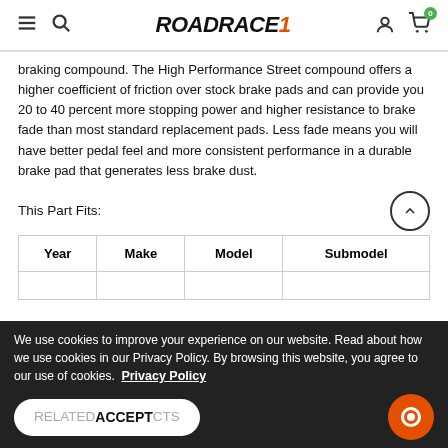ROADRACE1 navigation header
braking compound. The High Performance Street compound offers a higher coefficient of friction over stock brake pads and can provide you 20 to 40 percent more stopping power and higher resistance to brake fade than most standard replacement pads. Less fade means you will have better pedal feel and more consistent performance in a durable brake pad that generates less brake dust.
This Part Fits:
| Year | Make | Model | Submodel |
| --- | --- | --- | --- |
|  |  |  |  |
We use cookies to improve your experience on our website. Read about how we use cookies in our Privacy Policy. By browsing this website, you agree to our use of cookies. Privacy Policy
RELATED ACCEPT CTS